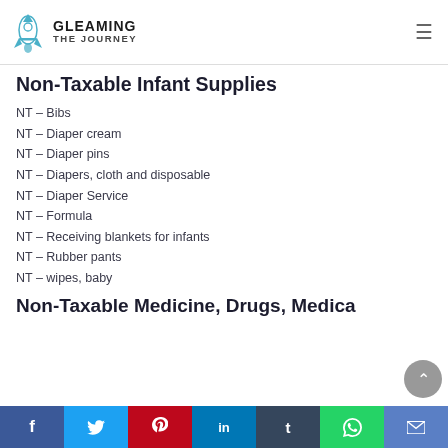GLEAMING THE JOURNEY
Non-Taxable Infant Supplies
NT – Bibs
NT – Diaper cream
NT – Diaper pins
NT – Diapers, cloth and disposable
NT – Diaper Service
NT – Formula
NT – Receiving blankets for infants
NT – Rubber pants
NT – wipes, baby
Non-Taxable Medicine, Drugs, Medical…
f  t  p  in  t  whatsapp  mail